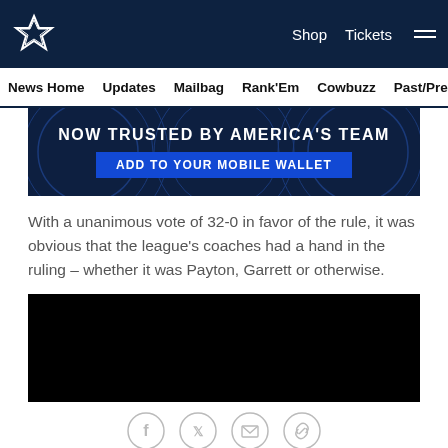Dallas Cowboys navigation: Shop, Tickets, menu
News Home   Updates   Mailbag   Rank'Em   Cowbuzz   Past/Pres
[Figure (infographic): Advertisement banner: NOW TRUSTED BY AMERICA'S TEAM with blue button ADD TO YOUR MOBILE WALLET on dark navy background with decorative circle patterns]
With a unanimous vote of 32-0 in favor of the rule, it was obvious that the league's coaches had a hand in the ruling – whether it was Payton, Garrett or otherwise.
[Figure (photo): Black video player embed block]
[Figure (infographic): Social sharing icons: Facebook, Twitter, Email, Link]